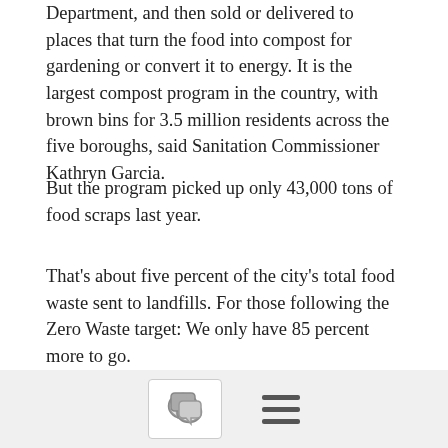Department, and then sold or delivered to places that turn the food into compost for gardening or convert it to energy. It is the largest compost program in the country, with brown bins for 3.5 million residents across the five boroughs, said Sanitation Commissioner Kathryn Garcia.
But the program picked up only 43,000 tons of food scraps last year.
That's about five percent of the city's total food waste sent to landfills. For those following the Zero Waste target: We only have 85 percent more to go.
ADVERTISEMENT
The brown bin compost program, which started as a small pilot program on Staten Island in 2013, was expected to expand citywide by the end of this year. But the pickup service in some of the 24 neighborhoods where it is offered has been reduced and
[Figure (other): Bottom navigation bar with a comment bubble icon button and a hamburger menu icon]